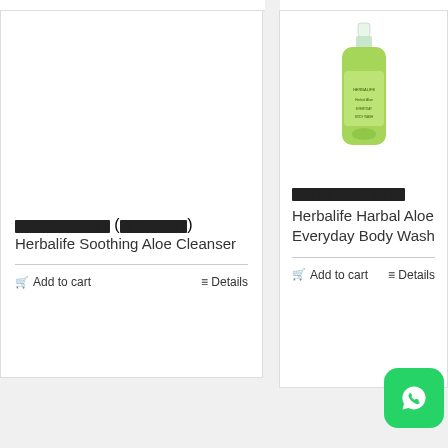[Figure (photo): Left product card - blank white image area for Herbalife Soothing Aloe Cleanser]
██████████ (███████)
Herbalife Soothing Aloe Cleanser
Add to cart   Details
[Figure (photo): Right product card - green bottle of Herbalife Harbal Aloe Everyday Body Wash]
████████████
Herbalife Harbal Aloe Everyday Body Wash
Add to cart   Details
[Figure (logo): WhatsApp floating button icon in bottom right corner]